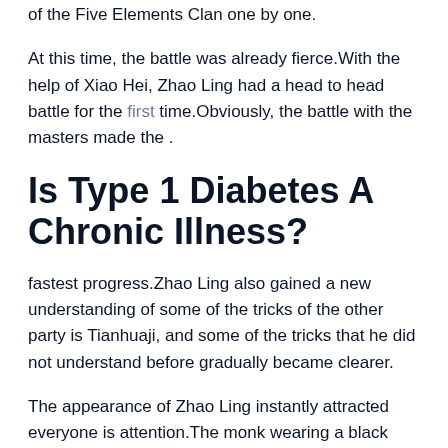of the Five Elements Clan one by one.
At this time, the battle was already fierce.With the help of Xiao Hei, Zhao Ling had a head to head battle for the first time.Obviously, the battle with the masters made the .
Is Type 1 Diabetes A Chronic Illness?
fastest progress.Zhao Ling also gained a new understanding of some of the tricks of the other party is Tianhuaji, and some of the tricks that he did not understand before gradually became clearer.
The appearance of Zhao Ling instantly attracted everyone is attention.The monk wearing a black gold mask and holding a black gold card has not appeared for hundreds of years at least, Lower Blood Sugar Herbs hemoglobin a1c control